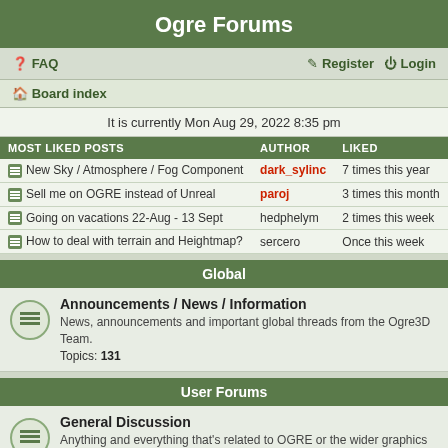Ogre Forums
FAQ   Register   Login
Board index
It is currently Mon Aug 29, 2022 8:35 pm
| MOST LIKED POSTS | AUTHOR | LIKED |
| --- | --- | --- |
| New Sky / Atmosphere / Fog Component | dark_sylinc | 7 times this year |
| Sell me on OGRE instead of Unreal | paroj | 3 times this month |
| Going on vacations 22-Aug - 13 Sept | hedphelym | 2 times this week |
| How to deal with terrain and Heightmap? | sercero | Once this week |
Global
Announcements / News / Information
News, announcements and important global threads from the Ogre3D Team.
Topics: 131
User Forums
General Discussion
Anything and everything that's related to OGRE or the wider graphics field that doesn't fit into the other forums.
Topics: 8568
Help
Problems building or running the engine, queries about how to use features etc.
Topics: 38350